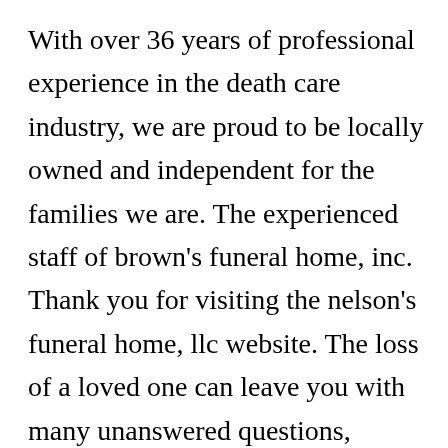With over 36 years of professional experience in the death care industry, we are proud to be locally owned and independent for the families we are. The experienced staff of brown's funeral home, inc. Thank you for visiting the nelson's funeral home, llc website. The loss of a loved one can leave you with many unanswered questions, feelings of stress, anxiety, and grief. Nelson�s funeral home, llc, ridgeway, south carolina. Family owned and operated, we are will�s funeral home